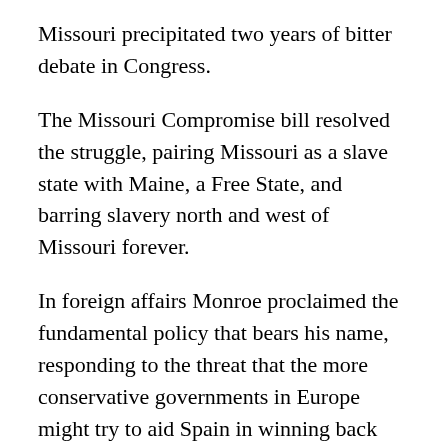Missouri precipitated two years of bitter debate in Congress.
The Missouri Compromise bill resolved the struggle, pairing Missouri as a slave state with Maine, a Free State, and barring slavery north and west of Missouri forever.
In foreign affairs Monroe proclaimed the fundamental policy that bears his name, responding to the threat that the more conservative governments in Europe might try to aid Spain in winning back her former Latin American colonies. Monroe did not begin formally to recognize the young sister republics until 1822, after ascertaining that Congress would vote appropriations for diplomatic missions.
Great Britain, with its powerful navy, also opposed reconquest of Latin America and suggested that the United States join in declaring "hands off" E...